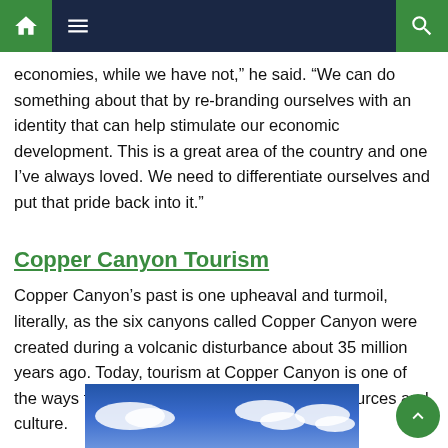Navigation bar with home, menu, and search icons
economies, while we have not,” he said. “We can do something about that by re-branding ourselves with an identity that can help stimulate our economic development. This is a great area of the country and one I’ve always loved. We need to differentiate ourselves and put that pride back into it.”
Copper Canyon Tourism
Copper Canyon’s past is one upheaval and turmoil, literally, as the six canyons called Copper Canyon were created during a volcanic disturbance about 35 million years ago. Today, tourism at Copper Canyon is one of the ways that the region shares its natural resources and culture.
[Figure (photo): Sky with white clouds, blue background, partial view at bottom of page]